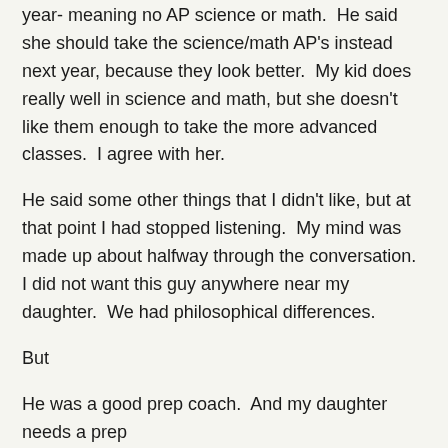year- meaning no AP science or math.  He said she should take the science/math AP's instead next year, because they look better.  My kid does really well in science and math, but she doesn't like them enough to take the more advanced classes.  I agree with her.
He said some other things that I didn't like, but at that point I had stopped listening.  My mind was made up about halfway through the conversation.  I did not want this guy anywhere near my daughter.  We had philosophical differences.
But
He was a good prep coach.  And my daughter needs a prep